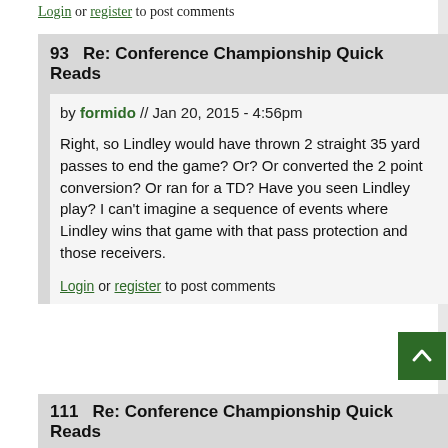Login or register to post comments
93   Re: Conference Championship Quick Reads
by formido // Jan 20, 2015 - 4:56pm
Right, so Lindley would have thrown 2 straight 35 yard passes to end the game? Or? Or converted the 2 point conversion? Or ran for a TD? Have you seen Lindley play? I can't imagine a sequence of events where Lindley wins that game with that pass protection and those receivers.
Login or register to post comments
111   Re: Conference Championship Quick Reads